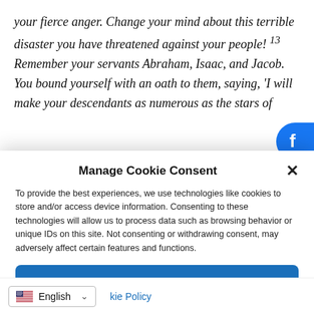your fierce anger. Change your mind about this terrible disaster you have threatened against your people! 13 Remember your servants Abraham, Isaac, and Jacob. You bound yourself with an oath to them, saying, 'I will make your descendants as numerous as the stars of
Manage Cookie Consent
To provide the best experiences, we use technologies like cookies to store and/or access device information. Consenting to these technologies will allow us to process data such as browsing behavior or unique IDs on this site. Not consenting or withdrawing consent, may adversely affect certain features and functions.
Accept
English
kie Policy